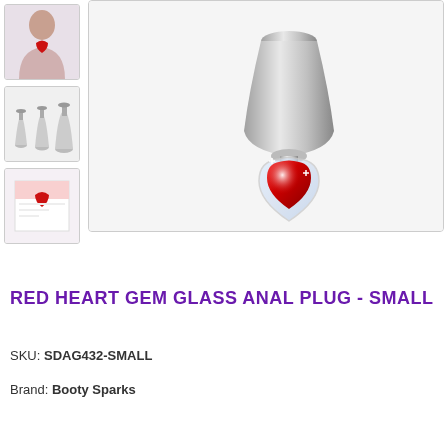[Figure (photo): Thumbnail 1: Person wearing a red heart gem jewelry piece around their neck, smiling]
[Figure (photo): Thumbnail 2: Three glass anal plugs of different sizes shown in a row]
[Figure (photo): Thumbnail 3: Product retail box packaging]
[Figure (photo): Main product image: Glass anal plug with red heart-shaped gemstone base, silver metallic stem, on white background]
RED HEART GEM GLASS ANAL PLUG - SMALL
SKU: SDAG432-SMALL
Brand: Booty Sparks